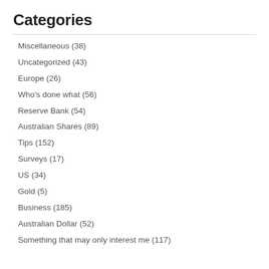Categories
Miscellaneous (38)
Uncategorized (43)
Europe (26)
Who's done what (56)
Reserve Bank (54)
Australian Shares (89)
Tips (152)
Surveys (17)
US (34)
Gold (5)
Business (185)
Australian Dollar (52)
Something that may only interest me (117)